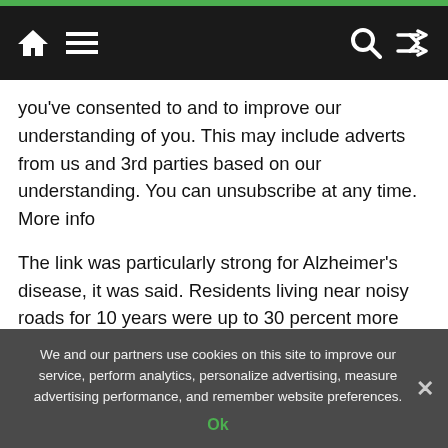Navigation header with home, menu, search, and shuffle icons
you've consented to and to improve our understanding of you. This may include adverts from us and 3rd parties based on our understanding. You can unsubscribe at any time. More info
The link was particularly strong for Alzheimer's disease, it was said. Residents living near noisy roads for 10 years were up to 30 percent more likely to be affected, compared to those in quieter areas. Scientists analysed health records of two million over-60s in Denmark between 2004 and 2017, and identified 103,500 new cases of dementia.
We and our partners use cookies on this site to improve our service, perform analytics, personalize advertising, measure advertising performance, and remember website preferences.
Ok